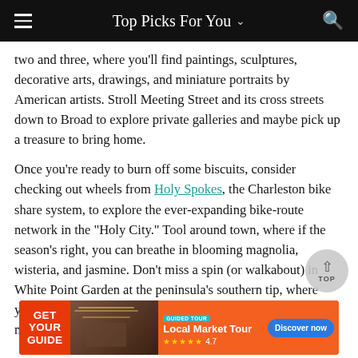Top Picks For You
two and three, where you'll find paintings, sculptures, decorative arts, drawings, and miniature portraits by American artists. Stroll Meeting Street and its cross streets down to Broad to explore private galleries and maybe pick up a treasure to bring home.
Once you're ready to burn off some biscuits, consider checking out wheels from Holy Spokes, the Charleston bike share system, to explore the ever-expanding bike-route network in the "Holy City." Tool around town, where if the season's right, you can breathe in blooming magnolia, wisteria, and jasmine. Don't miss a spin (or walkabout) in White Point Garden at the peninsula's southern tip, where you'll find The Battery, wartime monuments, marvelous mansions, and a waterfront promenade.
[Figure (screenshot): Get Your Guide advertisement banner: Local Market Tour, guided tour, 4.7 stars, Discover now button]